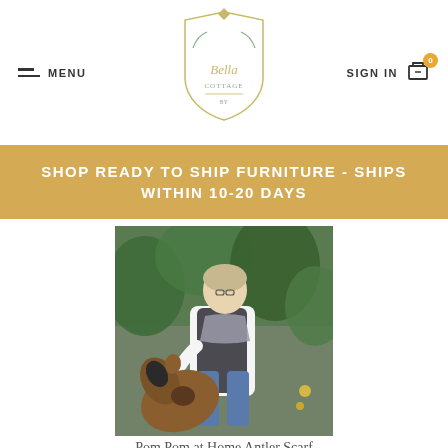MENU | The Bella Cottage | SIGN IN | Cart 0
SHOP READY TO SHIP FURNITURE - SHIPS WITHIN 10-20 DAYS
[Figure (photo): Woman petting a dog outdoors in a garden setting, wearing a white shirt, dark vest, and grey scarf]
Pom Pom at Home Antler Scarf
$41.00
WAITLIST